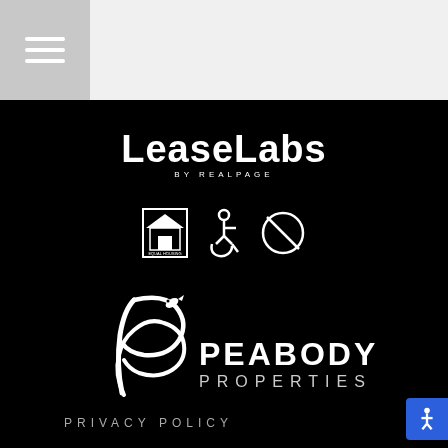[Figure (logo): LeaseLabs by RealPage logo — white text on black background with three compliance icons (equal housing, accessibility, no smoking)]
[Figure (logo): Peabody Properties logo — stylized white P with a fish, text PEABODY PROPERTIES]
PRIVACY POLICY